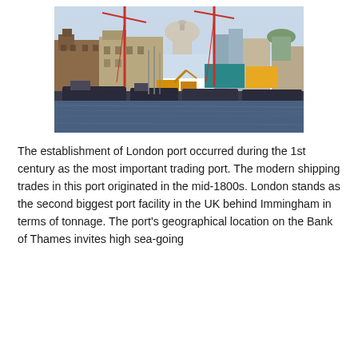[Figure (photo): A photograph of the London cityscape viewed from the River Thames, showing construction cranes, barges, and heavy equipment in the foreground with historic buildings including a domed structure (St Paul's Cathedral) in the background under a light blue sky.]
The establishment of London port occurred during the 1st century as the most important trading port. The modern shipping trades in this port originated in the mid-1800s. London stands as the second biggest port facility in the UK behind Immingham in terms of tonnage. The port's geographical location on the Bank of Thames invites high sea-going